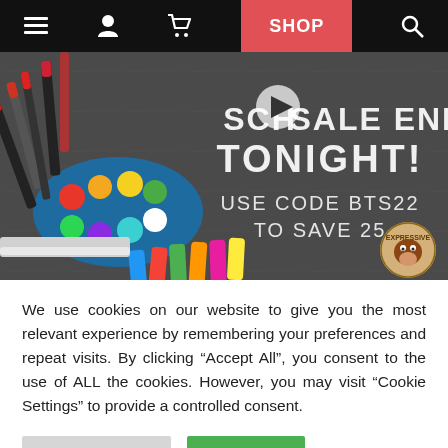navigation bar with menu, user, cart, SHOP, search icons
[Figure (screenshot): Back to school sale promotional banner on a chalkboard background with art supplies. Text: SCHOOL SALE ENDS TONIGHT! USE CODE BTS22 TO SAVE 25! with a play button icon and Expressive monkey logo.]
We use cookies on our website to give you the most relevant experience by remembering your preferences and repeat visits. By clicking “Accept All”, you consent to the use of ALL the cookies. However, you may visit "Cookie Settings" to provide a controlled consent.
Cookie Settings | Accept All